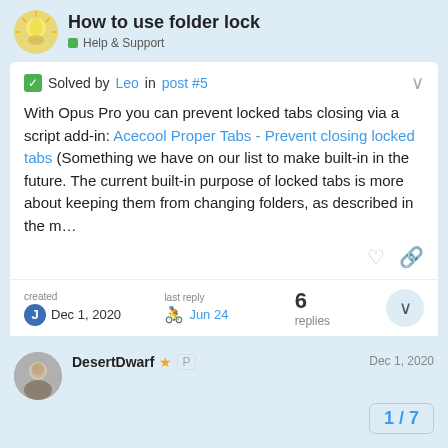How to use folder lock — Help & Support
✓ Solved by Leo in post #5
With Opus Pro you can prevent locked tabs closing via a script add-in: Acecool Proper Tabs - Prevent closing locked tabs (Something we have on our list to make built-in in the future. The current built-in purpose of locked tabs is more about keeping them from changing folders, as described in the m…
created Dec 1, 2020 | last reply Jun 24 | 6 replies
DesertDwarf ★ P — Dec 1, 2020
1 / 7